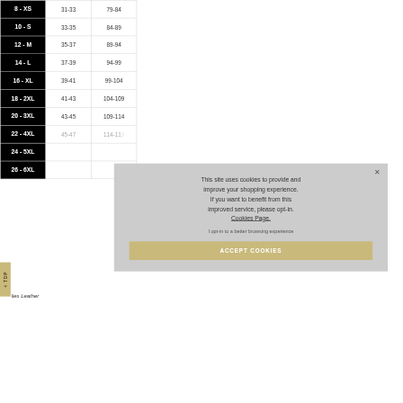| Size | Inches | CM |
| --- | --- | --- |
| 8 - XS | 31-33 | 79-84 |
| 10 - S | 33-35 | 84-89 |
| 12 - M | 35-37 | 89-94 |
| 14 - L | 37-39 | 94-99 |
| 16 - XL | 39-41 | 99-104 |
| 18 - 2XL | 41-43 | 104-109 |
| 20 - 3XL | 43-45 | 109-114 |
| 22 - 4XL | 45-47 | 114-119 |
| 24 - 5XL |  |  |
| 26 - 6XL |  |  |
This site uses cookies to provide and improve your shopping experience. If you want to benefit from this improved service, please opt-in. Cookies Page.
I opt-in to a better browsing experience
ACCEPT COOKIES
Ladies Leather
| Size | Inches | CM |
| --- | --- | --- |
| Loose Fit |  |  |
| 8 - XS |  |  |
| 10 - S |  |  |
| 12 - M | 37-39 | 94-99 |